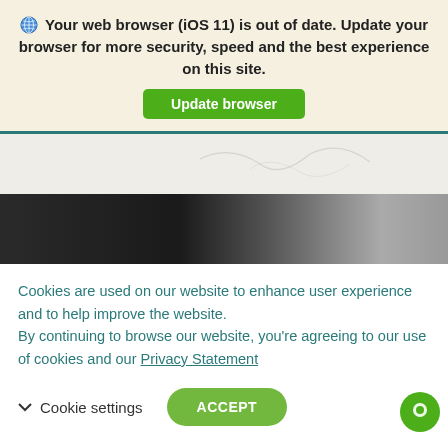Your web browser (iOS 11) is out of date. Update your browser for more security, speed and the best experience on this site.
Update browser
[Figure (screenshot): Partial screenshot of a webpage with a white upper area and a dark/black lower half, separated by a teal horizontal border line.]
Cookies are used on our website to enhance user experience and to help improve the website. By continuing to browse our website, you're agreeing to our use of cookies and our Privacy Statement
Cookie settings
ACCEPT